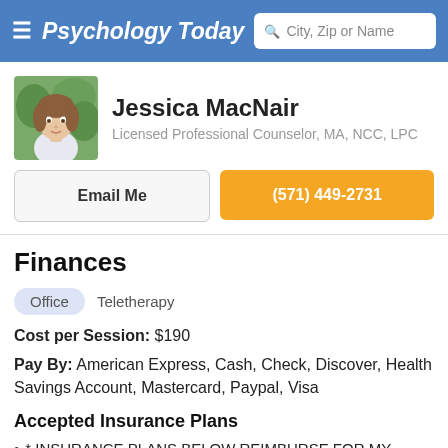Psychology Today — City, Zip or Name
Jessica MacNair
Licensed Professional Counselor, MA, NCC, LPC
Email Me
(571) 449-2731
Finances
Office   Teletherapy
Cost per Session: $190
Pay By: American Express, Cash, Check, Discover, Health Savings Account, Mastercard, Paypal, Visa
Accepted Insurance Plans
* INSURANCE PLANS BELOW REIMBURSE FOR MY SERVICES*
Aetna
American Behavioral